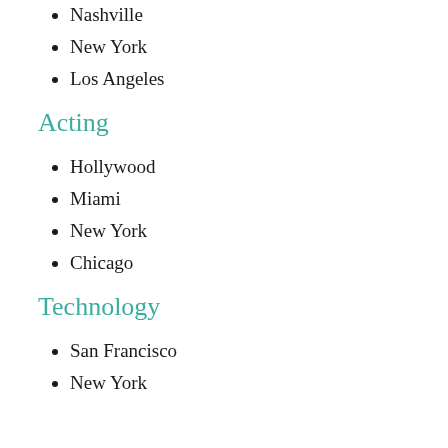Nashville
New York
Los Angeles
Acting
Hollywood
Miami
New York
Chicago
Technology
San Francisco
New York